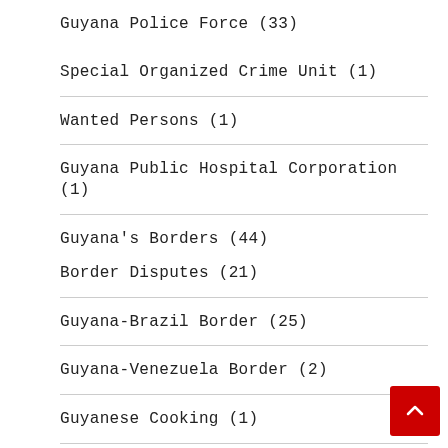Guyana Police Force (33)
Special Organized Crime Unit (1)
Wanted Persons (1)
Guyana Public Hospital Corporation (1)
Guyana's Borders (44)
Border Disputes (21)
Guyana-Brazil Border (25)
Guyana-Venezuela Border (2)
Guyanese Cooking (1)